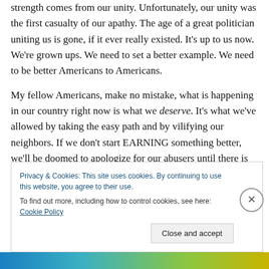strength comes from our unity.  Unfortunately, our unity was the first casualty of our apathy.  The age of a great politician uniting us is gone, if it ever really existed.  It's up to us now.  We're grown ups.  We need to set a better example.  We need to be better Americans to Americans.
My fellow Americans, make no mistake, what is happening in our country right now is what we deserve.  It's what we've allowed by taking the easy path and by vilifying our neighbors.  If we don't start EARNING something better, we'll be doomed to apologize for our abusers until there is no more humanity to beat out of us.   And I think we can
Privacy & Cookies: This site uses cookies. By continuing to use this website, you agree to their use.
To find out more, including how to control cookies, see here: Cookie Policy